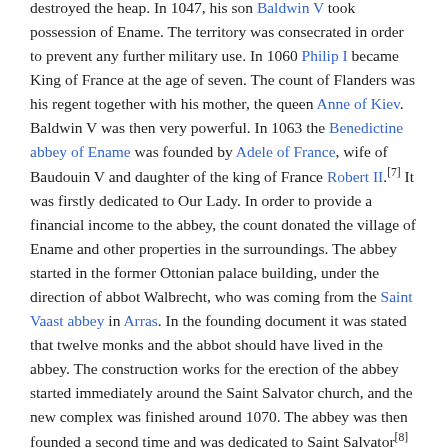destroyed the heap. In 1047, his son Baldwin V took possession of Ename. The territory was consecrated in order to prevent any further military use. In 1060 Philip I became King of France at the age of seven. The count of Flanders was his regent together with his mother, the queen Anne of Kiev. Baldwin V was then very powerful. In 1063 the Benedictine abbey of Ename was founded by Adele of France, wife of Baudouin V and daughter of the king of France Robert II.[7] It was firstly dedicated to Our Lady. In order to provide a financial income to the abbey, the count donated the village of Ename and other properties in the surroundings. The abbey started in the former Ottonian palace building, under the direction of abbot Walbrecht, who was coming from the Saint Vaast abbey in Arras. In the founding document it was stated that twelve monks and the abbot should have lived in the abbey. The construction works for the erection of the abbey started immediately around the Saint Salvator church, and the new complex was finished around 1070. The abbey was then founded a second time and was dedicated to Saint Salvator[8]
Modern History
In the course of the centuries the monastery and the church were